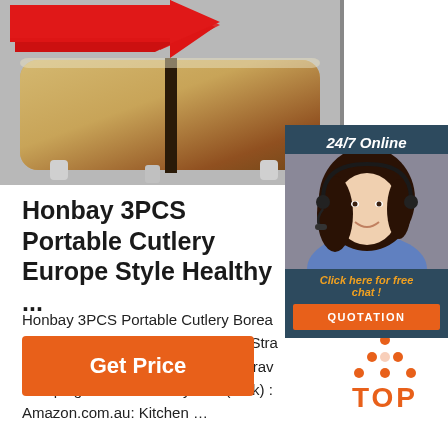[Figure (photo): Product photo showing a golden/bronze colored portable cutlery or tableware item on a light gray background with a red arrow overlay]
[Figure (photo): 24/7 Online chat widget with a female customer service agent wearing a headset, dark background with orange QUOTATION button]
Honbay 3PCS Portable Cutlery Europe Style Healthy ...
Honbay 3PCS Portable Cutlery Borea Style Healthy Eco-Friendly Wheat Stra Chopstick Fork Tableware set for Trav Camping or Just for Daily Use (Pink) : Amazon.com.au: Kitchen …
[Figure (logo): TOP logo with orange dots arranged in triangle above the word TOP in orange]
Get Price